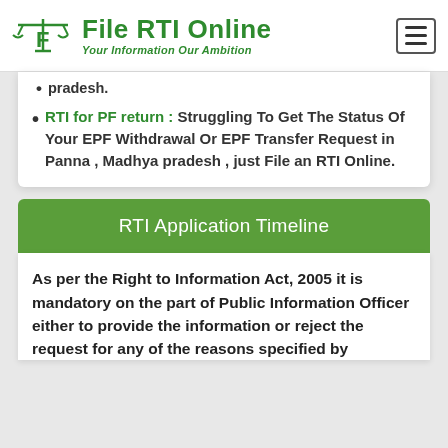[Figure (logo): File RTI Online logo with scales of justice icon and tagline 'Your Information Our Ambition' in green]
pradesh.
RTI for PF return : Struggling To Get The Status Of Your EPF Withdrawal Or EPF Transfer Request in Panna , Madhya pradesh , just File an RTI Online.
RTI Application Timeline
As per the Right to Information Act, 2005 it is mandatory on the part of Public Information Officer either to provide the information or reject the request for any of the reasons specified by